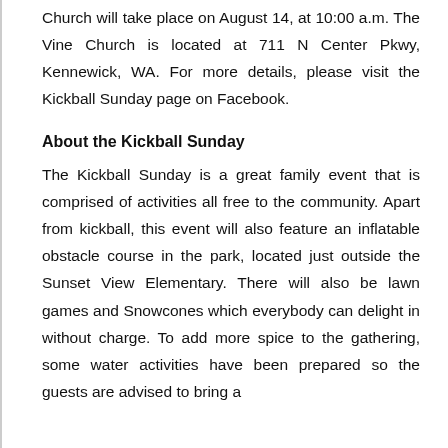Church will take place on August 14, at 10:00 a.m. The Vine Church is located at 711 N Center Pkwy, Kennewick, WA. For more details, please visit the Kickball Sunday page on Facebook.
About the Kickball Sunday
The Kickball Sunday is a great family event that is comprised of activities all free to the community. Apart from kickball, this event will also feature an inflatable obstacle course in the park, located just outside the Sunset View Elementary. There will also be lawn games and Snowcones which everybody can delight in without charge. To add more spice to the gathering, some water activities have been prepared so the guests are advised to bring a